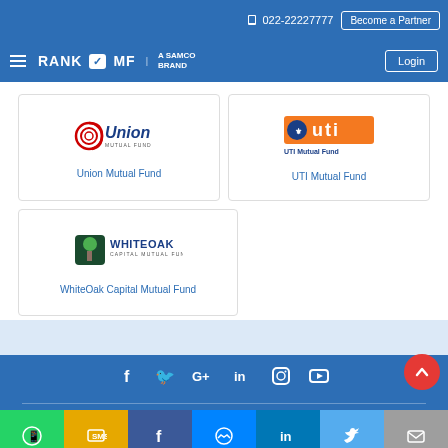022-22227777   Become a Partner
[Figure (logo): RankMF - A Samco Brand logo with hamburger menu and Login button]
[Figure (logo): Union Mutual Fund logo]
Union Mutual Fund
[Figure (logo): UTI Mutual Fund logo]
UTI Mutual Fund
[Figure (logo): WhiteOak Capital Mutual Fund logo]
WhiteOak Capital Mutual Fund
Social media icons: Facebook, Twitter, Google+, LinkedIn, Instagram, YouTube. Share buttons: WhatsApp, SMS, Facebook, Messenger, LinkedIn, Twitter, Email